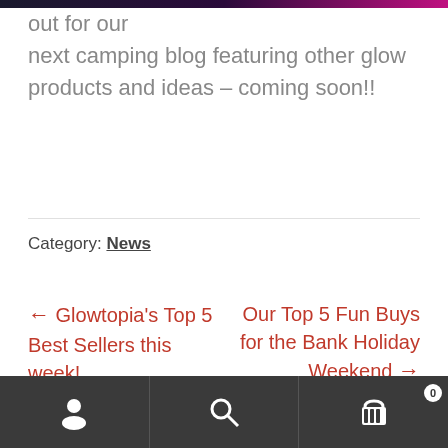[Figure (photo): Partial dark image at top of page with purple/magenta glow]
out for our next camping blog featuring other glow products and ideas – coming soon!!
Category: News
← Glowtopia's Top 5 Best Sellers this week!
Our Top 5 Fun Buys for the Bank Holiday Weekend →
[Figure (infographic): Bottom navigation bar with user icon, search icon, and cart icon with badge showing 0]